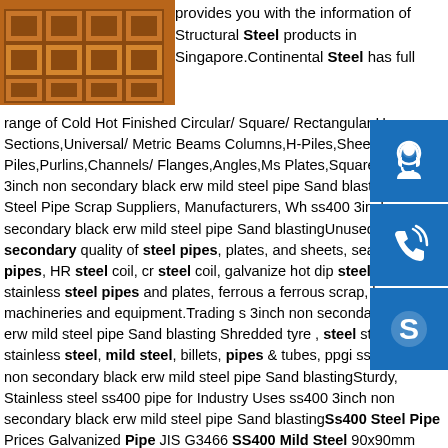[Figure (photo): Stack of square/rectangular hollow steel sections viewed from the end, showing orange/rust colored metal tubes]
provides you with the information of Structural Steel products in Singapore.Continental Steel has full range of Cold Hot Finished Circular/ Square/ Rectangular Ho Sections,Universal/ Metric Beams Columns,H-Piles,Sheet-Piles,Purlins,Channels/ Flanges,Angles,Ms Plates,Square/ R ss400 3inch non secondary black erw mild steel pipe Sand blastingUAE Steel Pipe Scrap Suppliers, Manufacturers, Wh ss400 3inch non secondary black erw mild steel pipe Sand blastingUnused and secondary quality of steel pipes, plates, and sheets, seamless pipes, HR steel coil, cr steel coil, galvanize hot dip steel coil, stainless steel pipes and plates, ferrous a ferrous scrap, heavy machineries and equipment.Trading s 3inch non secondary black erw mild steel pipe Sand blasting Shredded tyre , steel structure, stainless steel, mild steel, billets, pipes & tubes, ppgi ss400 3inch non secondary black erw mild steel pipe Sand blastingSturdy, Stainless steel ss400 pipe for Industry Uses ss400 3inch non secondary black erw mild steel pipe Sand blastingSs400 Steel Pipe Prices Galvanized Pipe JIS G3466 SS400 Mild Steel 90x90mm Steel Square Tube Price Structure Pipe Galvanized ST37 Hot Rolled WELDING ST52 Non-alloy Q195 US
[Figure (illustration): Blue square icon with headset/customer support silhouette in white]
[Figure (illustration): Blue square icon with telephone/phone call symbol in white with signal arcs]
[Figure (illustration): Blue square icon with Skype logo letter S in white]